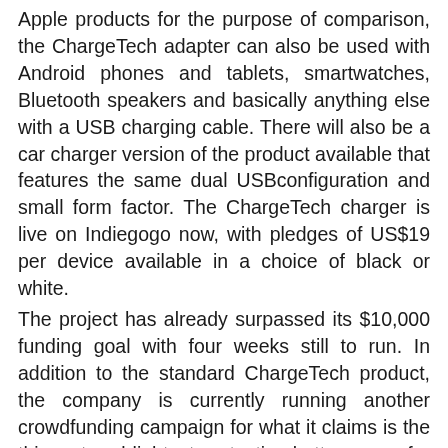Apple products for the purpose of comparison, the ChargeTech adapter can also be used with Android phones and tablets, smartwatches, Bluetooth speakers and basically anything else with a USB charging cable. There will also be a car charger version of the product available that features the same dual USBconfiguration and small form factor. The ChargeTech charger is live on Indiegogo now, with pledges of US$19 per device available in a choice of black or white.
The project has already surpassed its $10,000 funding goal with four weeks still to run. In addition to the standard ChargeTech product, the company is currently running another crowdfunding campaign for what it claims is the thinnest and lightest protective battery case for the iPhone 6. Known as ThinCharge, the battery case is claimed to double the smartphone's battery life, features a soft satin finish, and is fitted with an LED indicator so you know it's connected and working. With an